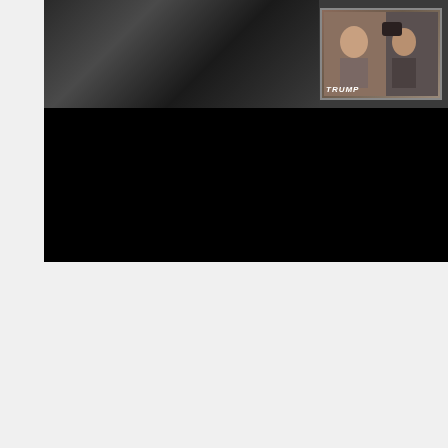[Figure (screenshot): Video thumbnail showing people on a floor in a security camera style image, with a smaller inset video showing two people outside, one wearing a Trump shirt]
[Figure (screenshot): Video player with black background showing title 'Newsmax Host Greg Kelly Has 5 Questions fo...' with a reCAPTCHA privacy badge in the bottom right corner]